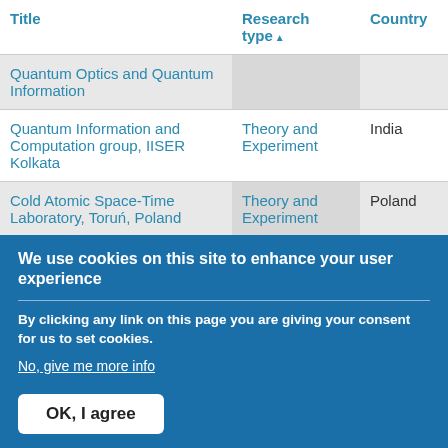| Title | Research type▲ | Country |
| --- | --- | --- |
| Quantum Optics and Quantum Information |  |  |
| Quantum Information and Computation group, IISER Kolkata | Theory and Experiment | India |
| Cold Atomic Space-Time Laboratory, Toruń, Poland | Theory and Experiment | Poland |
We use cookies on this site to enhance your user experience
By clicking any link on this page you are giving your consent for us to set cookies.
No, give me more info
OK, I agree